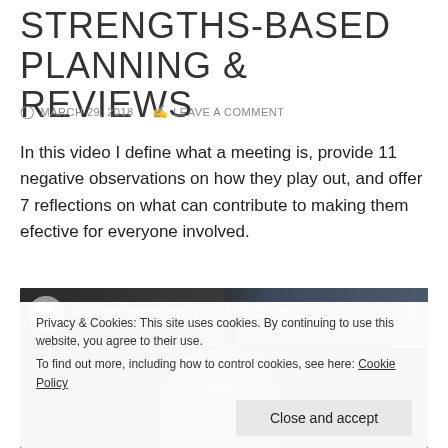STRENGTHS-BASED PLANNING & REVIEWS
MARCH 29, 2018   LEAVE A COMMENT
In this video I define what a meeting is, provide 11 negative observations on how they play out, and offer 7 reflections on what can contribute to making them efective for everyone involved.
[Figure (screenshot): Video thumbnail showing an older man with white hair in front of a bookshelf. Title text reads: Making 'meetings' more effective. A three-dot menu icon appears in the top right corner.]
Privacy & Cookies: This site uses cookies. By continuing to use this website, you agree to their use.
To find out more, including how to control cookies, see here: Cookie Policy
Close and accept